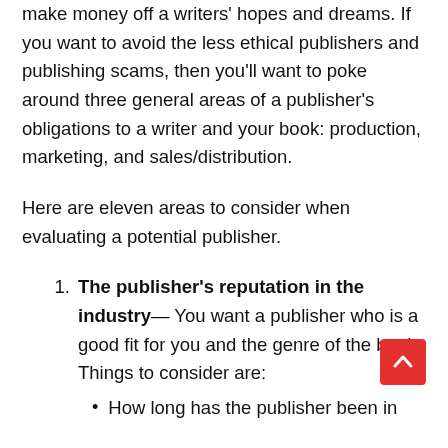make money off a writers' hopes and dreams. If you want to avoid the less ethical publishers and publishing scams, then you'll want to poke around three general areas of a publisher's obligations to a writer and your book: production, marketing, and sales/distribution.
Here are eleven areas to consider when evaluating a potential publisher.
The publisher's reputation in the industry— You want a publisher who is a good fit for you and the genre of the book. Things to consider are:
How long has the publisher been in